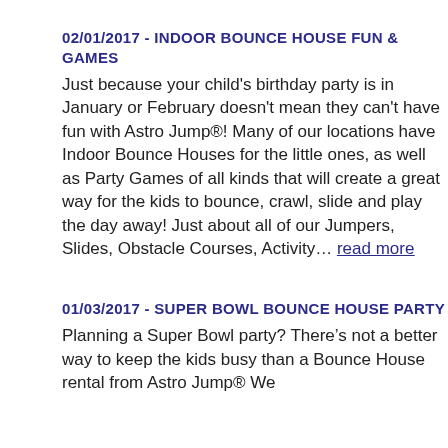02/01/2017 - INDOOR BOUNCE HOUSE FUN & GAMES
Just because your child's birthday party is in January or February doesn't mean they can't have fun with Astro Jump®! Many of our locations have Indoor Bounce Houses for the little ones, as well as Party Games of all kinds that will create a great way for the kids to bounce, crawl, slide and play the day away! Just about all of our Jumpers, Slides, Obstacle Courses, Activity... read more
01/03/2017 - SUPER BOWL BOUNCE HOUSE PARTY
Planning a Super Bowl party? There's not a better way to keep the kids busy than a Bounce House rental from Astro Jump® We...